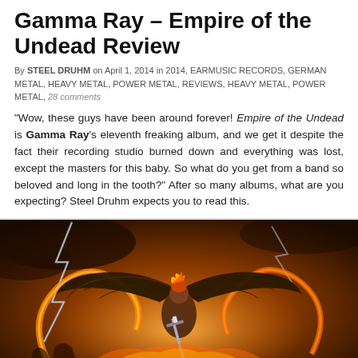Gamma Ray – Empire of the Undead Review
By STEEL DRUHM on April 1, 2014 in 2014, EARMUSIC RECORDS, GERMAN METAL, HEAVY METAL, POWER METAL, REVIEWS, HEAVY METAL, POWER METAL, 28 comments
"Wow, these guys have been around forever! Empire of the Undead is Gamma Ray's eleventh freaking album, and we get it despite the fact their recording studio burned down and everything was lost, except the masters for this baby. So what do you get from a band so beloved and long in the tooth?" After so many albums, what are you expecting? Steel Druhm expects you to read this.
[Figure (illustration): Fantasy album artwork showing a winged warrior figure wielding a sword amid fire and lightning, with a dramatic orange and dark sky background — Empire of the Undead album cover art by Gamma Ray]